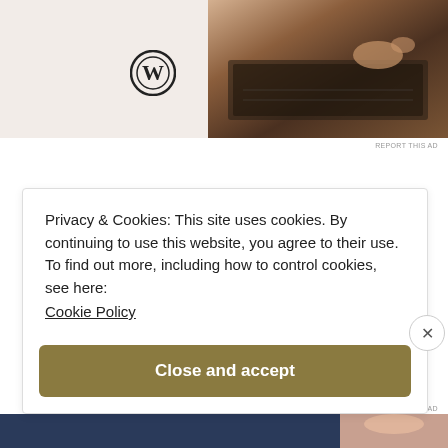[Figure (photo): WordPress logo on beige background beside a photo of hands on a laptop keyboard (advertisement image)]
REPORT THIS AD
Share this:
Twitter   Facebook
Like    [avatar]
One blogger likes this.
Privacy & Cookies: This site uses cookies. By continuing to use this website, you agree to their use.
To find out more, including how to control cookies, see here:
Cookie Policy
Close and accept